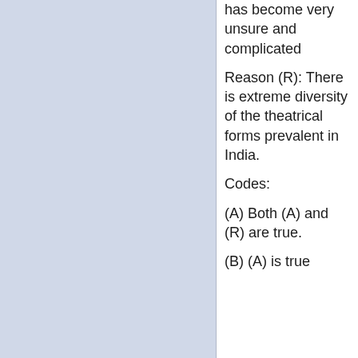has become very unsure and complicated
Reason (R): There is extreme diversity of the theatrical forms prevalent in India.
Codes:
(A) Both (A) and (R) are true.
(B) (A) is true